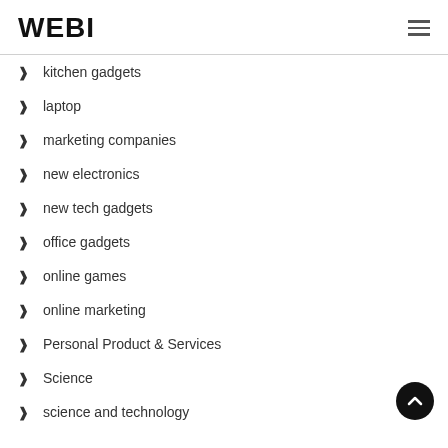WEBI
kitchen gadgets
laptop
marketing companies
new electronics
new tech gadgets
office gadgets
online games
online marketing
Personal Product & Services
Science
science and technology